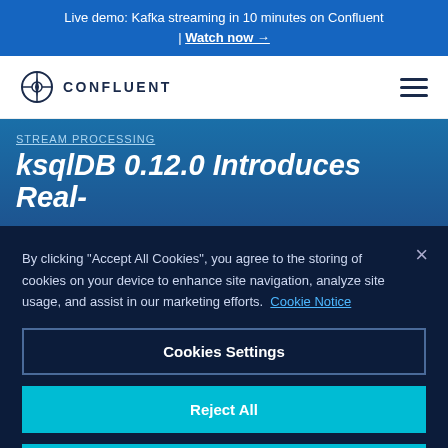Live demo: Kafka streaming in 10 minutes on Confluent | Watch now →
[Figure (logo): Confluent logo with compass icon and CONFLUENT text, plus hamburger menu icon]
STREAM PROCESSING
ksqlDB 0.12.0 Introduces Real-
By clicking "Accept All Cookies", you agree to the storing of cookies on your device to enhance site navigation, analyze site usage, and assist in our marketing efforts.  Cookie Notice
Cookies Settings
Reject All
Accept All Cookies